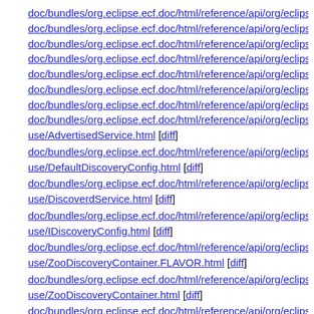doc/bundles/org.eclipse.ecf.doc/html/reference/api/org/eclipse/ecf/use/AdvertisedService.html [diff]
doc/bundles/org.eclipse.ecf.doc/html/reference/api/org/eclipse/ecf/use/DefaultDiscoveryConfig.html [diff]
doc/bundles/org.eclipse.ecf.doc/html/reference/api/org/eclipse/ecf/use/DiscoverdService.html [diff]
doc/bundles/org.eclipse.ecf.doc/html/reference/api/org/eclipse/ecf/use/IDiscoveryConfig.html [diff]
doc/bundles/org.eclipse.ecf.doc/html/reference/api/org/eclipse/ecf/use/ZooDiscoveryContainer.FLAVOR.html [diff]
doc/bundles/org.eclipse.ecf.doc/html/reference/api/org/eclipse/ecf/use/ZooDiscoveryContainer.html [diff]
doc/bundles/org.eclipse.ecf.doc/html/reference/api/org/eclipse/ecf/use/ZooDiscoveryContainerInstantiator.html [diff]